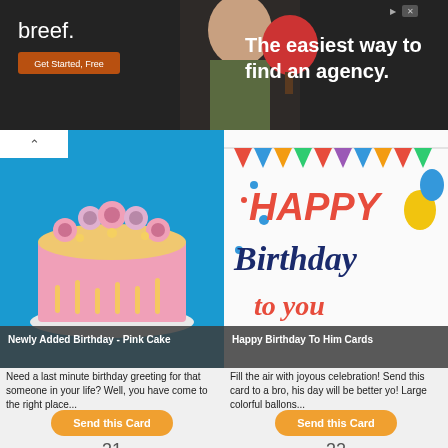[Figure (screenshot): Advertisement banner for 'breef.' - The easiest way to find an agency. Dark background with Get Started Free button.]
[Figure (photo): Pink birthday cake with pink frosting swirls and drips on blue background. Caption: Newly Added Birthday - Pink Cake]
Need a last minute birthday greeting for that someone in your life? Well, you have come to the right place...
[Figure (illustration): Happy Birthday To Him Cards - colorful text greeting card with balloons and bunting]
Fill the air with joyous celebration! Send this card to a bro, his day will be better yo! Large colorful ballons...
31
32
[Figure (photo): Partial view of Happy birthday text on dark wood background]
[Figure (photo): Partial view of colorful balloons birthday image]